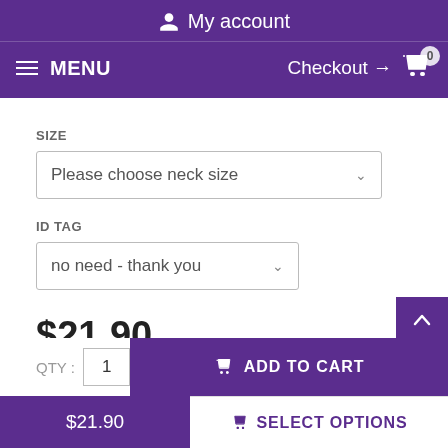My account
MENU  Checkout → 0
SIZE
Please choose neck size
ID TAG
no need - thank you
$21.90
QTY : 1
ADD TO CART
$21.90
SELECT OPTIONS